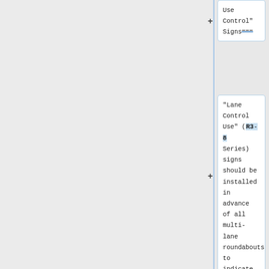Use Control" Signs===
"Lane Control Use" (R3-8 Series) signs should be installed in advance of all multi-lane roundabouts to indicate the allowable turning movements from each lane of the